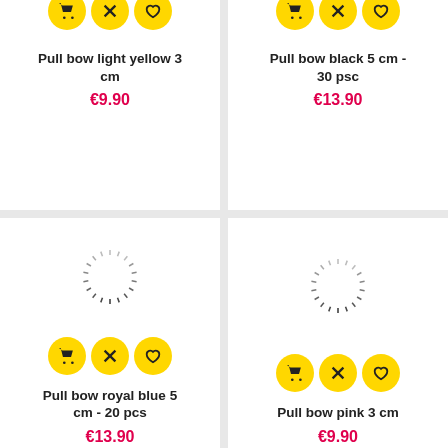[Figure (screenshot): Product card top-left: yellow bow circles cropped at top, product name and price below]
Pull bow light yellow 3 cm
€9.90
[Figure (screenshot): Product card top-right: yellow bow circles cropped at top, product name and price below]
Pull bow black 5 cm - 30 psc
€13.90
[Figure (screenshot): Product card bottom-left: loading spinner, yellow action buttons, product name and price]
Pull bow royal blue 5 cm - 20 pcs
€13.90
[Figure (screenshot): Product card bottom-right: loading spinner, yellow action buttons, product name and price]
Pull bow pink 3 cm
€9.90